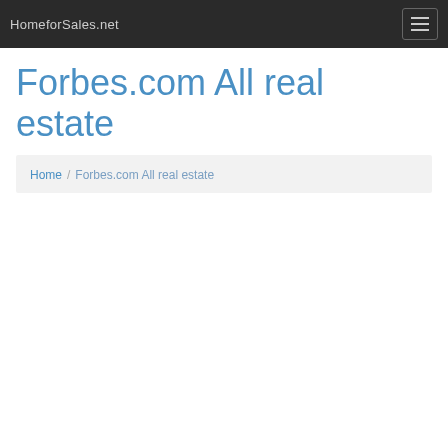HomeforSales.net
Forbes.com All real estate
Home / Forbes.com All real estate